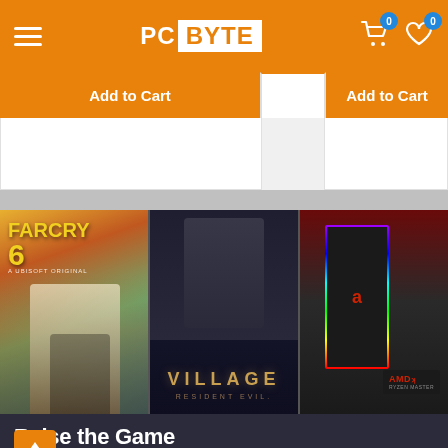PC BYTE
Add to Cart
Add to Cart
[Figure (screenshot): Far Cry 6 game cover showing two characters with tropical sunset background and yellow title text]
[Figure (screenshot): Resident Evil Village cover showing menacing figure in dark rain with gold VILLAGE text]
[Figure (screenshot): AMD Ryzen processor product display with RGB lighting and AMD logo]
Raise the Game
Get 2 games when you buy an eligible A...